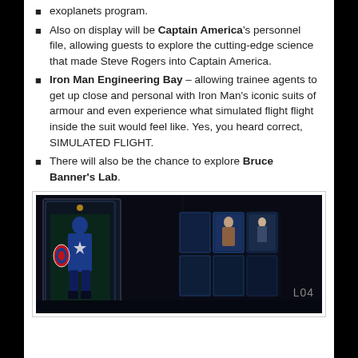exoplanets program.
Also on display will be Captain America's personnel file, allowing guests to explore the cutting-edge science that made Steve Rogers into Captain America.
Iron Man Engineering Bay – allowing trainee agents to get up close and personal with Iron Man's iconic suits of armour and even experience what simulated flight flight inside the suit would feel like. Yes, you heard correct, SIMULATED FLIGHT.
There will also be the chance to explore Bruce Banner's Lab.
[Figure (photo): Dark themed display room showing Captain America suit in a glass case on the left and digital screen panels on the right with L04 label visible]